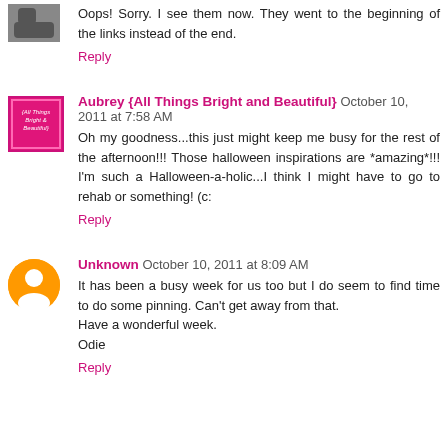Oops! Sorry. I see them now. They went to the beginning of the links instead of the end.
Reply
Aubrey {All Things Bright and Beautiful} October 10, 2011 at 7:58 AM
Oh my goodness...this just might keep me busy for the rest of the afternoon!!! Those halloween inspirations are *amazing*!!! I'm such a Halloween-a-holic...I think I might have to go to rehab or something! (c:
Reply
Unknown October 10, 2011 at 8:09 AM
It has been a busy week for us too but I do seem to find time to do some pinning. Can't get away from that.
Have a wonderful week.
Odie
Reply